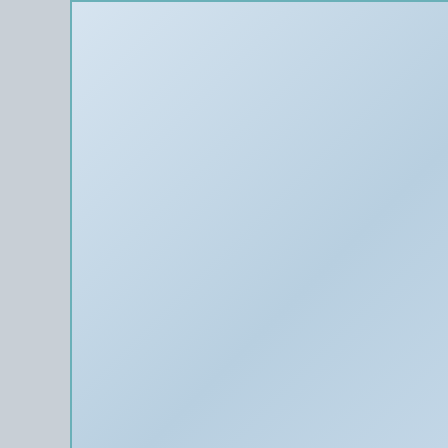[Figure (other): Light blue gradient decorative panel on the left side of the page]
Sub
Additional Services O
Detoxification
Specialty Progra
Persons With Co-Occurring
Substance Abuse Dis
Pregnant/Postpartum
Women
Men
Dui/Dwi Offende
Criminal Justice Cl
198 Thoma
Frederic
Additional Services O
Addiction Treatment P
Specialty Progra
Persons With Co-Occurring